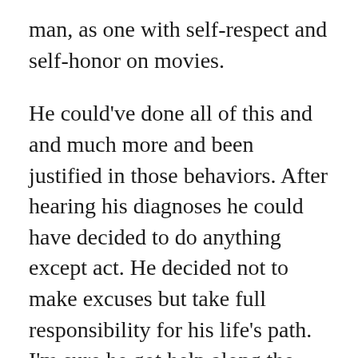man, as one with self-respect and self-honor on movies.
He could've done all of this and and much more and been justified in those behaviors. After hearing his diagnoses he could have decided to do anything except act. He decided not to make excuses but take full responsibility for his life's path. I'm sure he got help along the way but he had to garden his own life. He created movie after movie bringing to life characters, black male characters, reminding us of their importance in society that transcend their